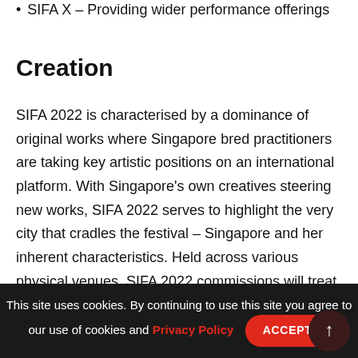SIFA X – Providing wider performance offerings
Creation
SIFA 2022 is characterised by a dominance of original works where Singapore bred practitioners are taking key artistic positions on an international platform. With Singapore's own creatives steering new works, SIFA 2022 serves to highlight the very city that cradles the festival – Singapore and her inherent characteristics. Held across various physical venues, SIFA 2022 commissions will treat audiences to the experience of an unusual "excursion", where the destination holds as much charm
This site uses cookies. By continuing to use this site you agree to our use of cookies and Privacy Policy  ACCEPT